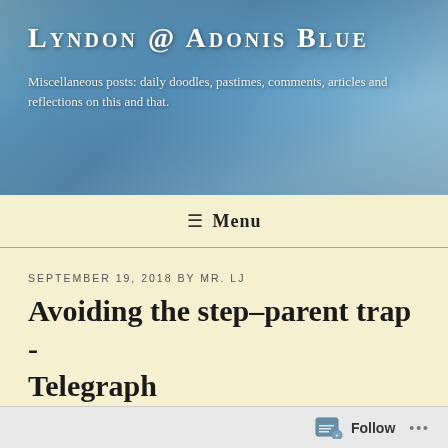LYNDON @ ADONIS BLUE
Miscellaneous posts: daily doodles, pastimes, comments, articles and reflections on this and that.
≡ Menu
SEPTEMBER 19, 2018 BY MR. LJ
Avoiding the step-parent trap - Telegraph
Food for thought...LJ
Flora McEvedy explains how she overcame feelings of anger and resentment towards her stepchildren.
Follow ...